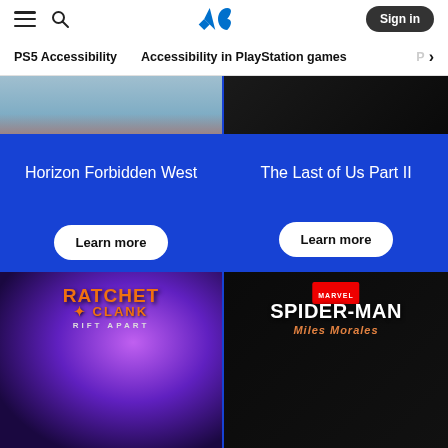PlayStation navigation header with hamburger menu, search icon, PlayStation logo, and Sign in button
PS5 Accessibility
Accessibility in PlayStation games
Horizon Forbidden West
The Last of Us Part II
Learn more
Learn more
[Figure (screenshot): Ratchet & Clank Rift Apart game cover art with colorful purple/pink energy background]
[Figure (screenshot): Marvel's Spider-Man Miles Morales game cover art on dark background]